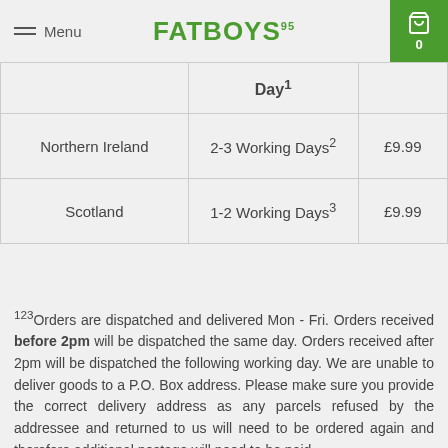Menu | FATBOYS⁹⁵ | 0
|  | Day¹ |  |
| --- | --- | --- |
| Northern Ireland | 2-3 Working Days² | £9.99 |
| Scotland | 1-2 Working Days³ | £9.99 |
¹²³Orders are dispatched and delivered Mon - Fri. Orders received before 2pm will be dispatched the same day. Orders received after 2pm will be dispatched the following working day. We are unable to deliver goods to a P.O. Box address. Please make sure you provide the correct delivery address as any parcels refused by the addressee and returned to us will need to be ordered again and therefore additional postage will need to be paid.